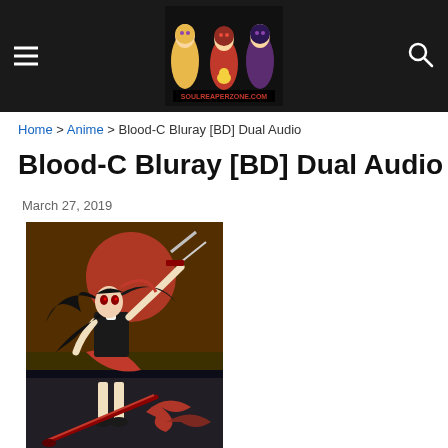SoulReaperZone.com – site header with hamburger menu, logo, and search icon
Home > Anime > Blood-C Bluray [BD] Dual Audio
Blood-C Bluray [BD] Dual Audio
March 27, 2019
[Figure (illustration): Anime character illustration from Blood-C: a dark-haired girl in a red and black outfit holding a sword, with a red circular background and dark swirling elements at the bottom]